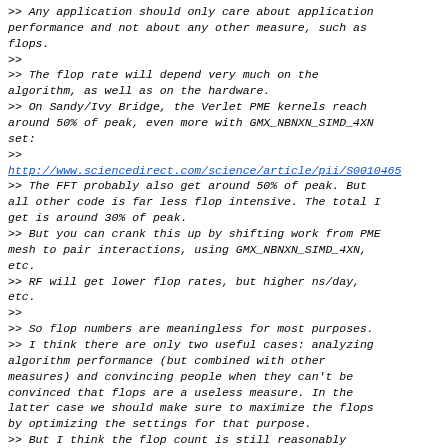>> Any application should only care about application performance and not about any other measure, such as flops.
>>
>> The flop rate will depend very much on the algorithm, as well as on the hardware.
>> On Sandy/Ivy Bridge, the Verlet PME kernels reach around 50% of peak, even more with GMX_NBNXN_SIMD_4XN set:
>>
http://www.sciencedirect.com/science/article/pii/S00104655...
>> The FFT probably also get around 50% of peak. But all other code is far less flop intensive. The total I get is around 30% of peak.
>> But you can crank this up by shifting work from PME mesh to pair interactions, using GMX_NBNXN_SIMD_4XN, etc.
>> RF will get lower flop rates, but higher ns/day, etc.
>>
>> So flop numbers are meaningless for most purposes.
>> I think there are only two useful cases: analyzing algorithm performance (but combined with other measures) and convincing people when they can't be convinced that flops are a useless measure. In the latter case we should make sure to maximize the flops by optimizing the settings for that purpose.
>> But I think the flop count is still reasonably accurate (+-10%). Flops in communication should be negligible.